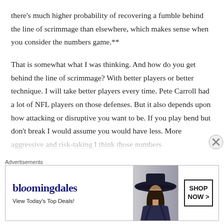there's much higher probability of recovering a fumble behind the line of scrimmage than elsewhere, which makes sense when you consider the numbers game.**
That is somewhat what I was thinking. And how do you get behind the line of scrimmage? With better players or better technique. I will take better players every time. Pete Carroll had a lot of NFL players on those defenses. But it also depends upon how attacking or disruptive you want to be. If you play bend but don't break I would assume you would have less. More aggressive and risk-taking I think those numbers...
Advertisements
[Figure (other): Bloomingdale's advertisement banner with logo, 'View Today's Top Deals!' tagline, image of woman in wide-brim hat, and 'SHOP NOW >' call-to-action button]